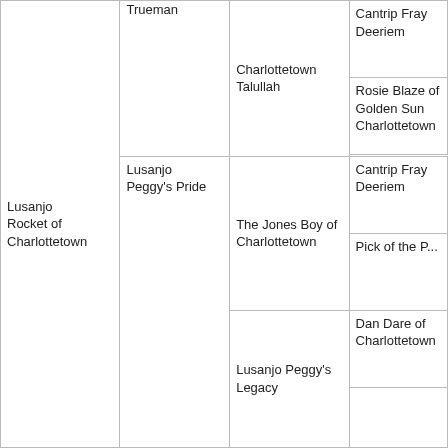|  | Trueman | Charlottetown Talullah | Cantrip Fray
Deeriem |
|  |  |  | Rosie Blaze of Golden Sun Charlottetown |
| Lusanjo Rocket of Charlottetown |  | The Jones Boy of Charlottetown | Cantrip Fray
Deeriem |
|  |  |  | Pick of the P... |
|  | Lusanjo Peggy's Pride |  | Dan Dare of Charlottetown |
|  |  | Lusanjo Peggy's Legacy |  |